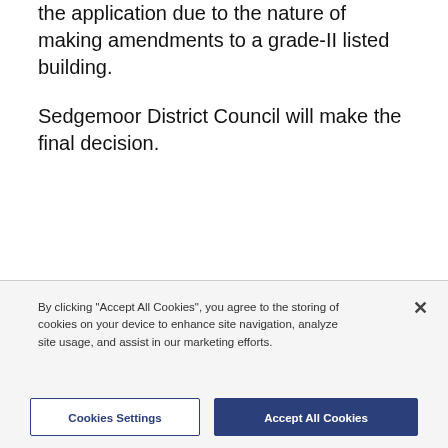the application due to the nature of making amendments to a grade-II listed building.

Sedgemoor District Council will make the final decision.
By clicking "Accept All Cookies", you agree to the storing of cookies on your device to enhance site navigation, analyze site usage, and assist in our marketing efforts.
Cookies Settings
Accept All Cookies